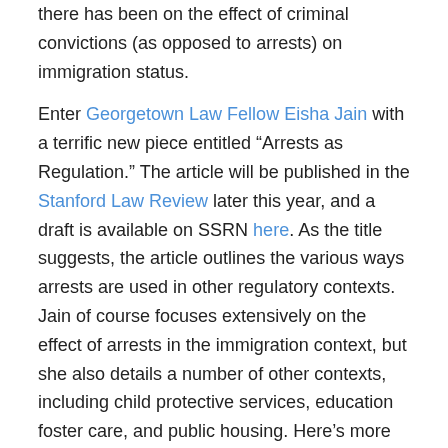there has been on the effect of criminal convictions (as opposed to arrests) on immigration status.
Enter Georgetown Law Fellow Eisha Jain with a terrific new piece entitled “Arrests as Regulation.” The article will be published in the Stanford Law Review later this year, and a draft is available on SSRN here. As the title suggests, the article outlines the various ways arrests are used in other regulatory contexts. Jain of course focuses extensively on the effect of arrests in the immigration context, but she also details a number of other contexts, including child protective services, education foster care, and public housing. Here’s more detail, from the abstract:
For some arrested individuals, the most important consequences of their arrest arise outside the criminal justice system. Arrests